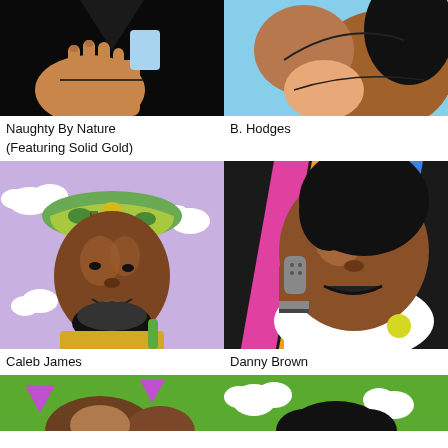[Figure (illustration): Comic-style illustration of Naughty By Nature, top portion showing hands and dark background]
[Figure (illustration): Comic-style illustration of B. Hodges, top portion showing figure with blue and brown tones]
Naughty By Nature (Featuring Solid Gold)
B. Hodges
[Figure (illustration): Comic-style illustration of Caleb James, man with colorful bucket hat on purple background with clouds]
[Figure (illustration): Comic-style illustration of Danny Brown, man singing into mic with rainbow background]
Caleb James
Danny Brown
[Figure (illustration): Bottom partial comic-style illustration on green background with purple triangles]
[Figure (illustration): Bottom partial comic-style illustration on green background with cloud shapes]